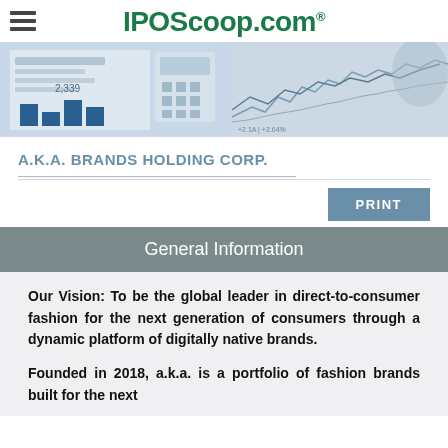IPOScoop.com
[Figure (photo): Banner image showing financial documents, calculator, and stock chart background]
A.K.A. BRANDS HOLDING CORP.
General Information
Our Vision: To be the global leader in direct-to-consumer fashion for the next generation of consumers through a dynamic platform of digitally native brands.
Founded in 2018, a.k.a. is a portfolio of fashion brands built for the next